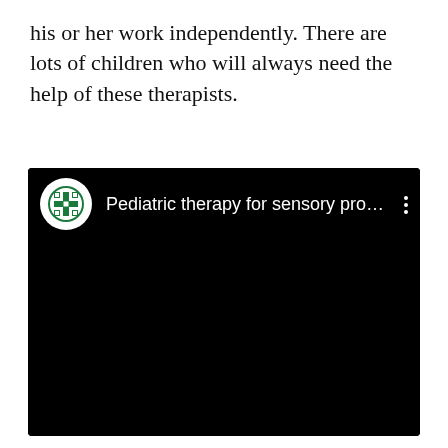his or her work independently. There are lots of children who will always need the help of these therapists.
[Figure (screenshot): A video player screenshot showing a black background with a channel icon (green cross/medical symbol on white circle) and the title 'Pediatric therapy for sensory pro...' with a three-dot menu icon on the right.]